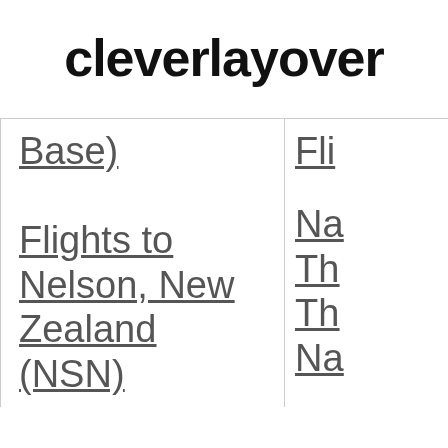cleverlayover
| Base) | Fli |
| Flights to Nelson, New Zealand (NSN) | Na
Th
Th
Na |